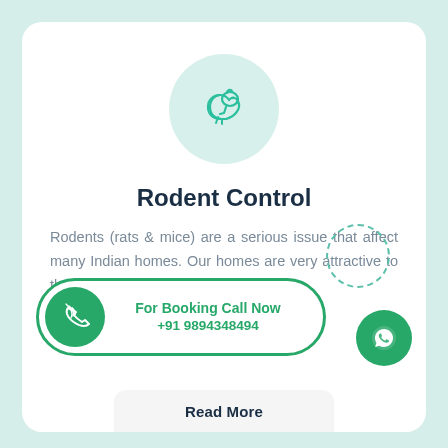[Figure (illustration): Squirrel/rodent icon in teal outline on a light teal circular background]
Rodent Control
Rodents (rats & mice) are a serious issue that affect many Indian homes. Our homes are very attractive to them, as they [provide everything] they need:
For Booking Call Now +91 9894348494
[Figure (logo): WhatsApp icon in white on green circle button]